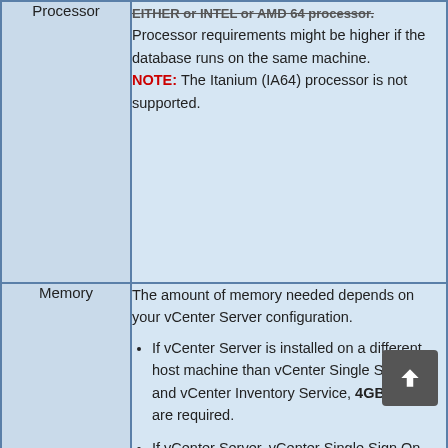| Component | Requirement |
| --- | --- |
| Processor | EITHER or INTEL or AMD 64 processor. Processor requirements might be higher if the database runs on the same machine. NOTE: The Itanium (IA64) processor is not supported. |
| Memory | The amount of memory needed depends on your vCenter Server configuration. If vCenter Server is installed on a different host machine than vCenter Single Sign On and vCenter Inventory Service, 4GB of RAM are required. If vCenter Server, vCenter Single Sign On and vCenter Inventory Service are installed on the same host machine (as with vCenter Simple Install), 10GB of RAM are required. |